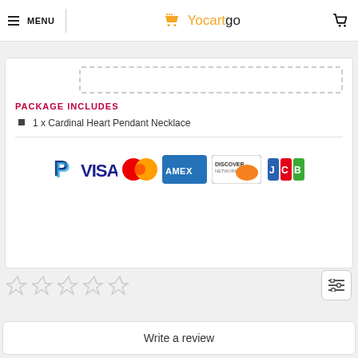MENU | Yocartgo
PACKAGE INCLUDES
1 x Cardinal Heart Pendant Necklace
[Figure (infographic): Payment method logos: PayPal, Visa, Mastercard, Amex, Discover, JCB]
[Figure (other): Five empty star rating icons]
Write a review